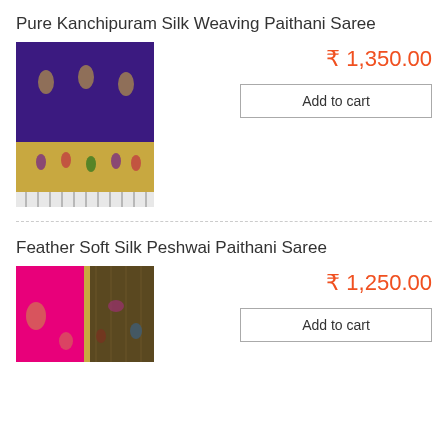Pure Kanchipuram Silk Weaving Paithani Saree
[Figure (photo): Purple and gold Kanchipuram silk Paithani saree with decorative border and tassels]
₹ 1,350.00
Add to cart
Feather Soft Silk Peshwai Paithani Saree
[Figure (photo): Pink and gold Peshwai Paithani saree with embroidered motifs]
₹ 1,250.00
Add to cart